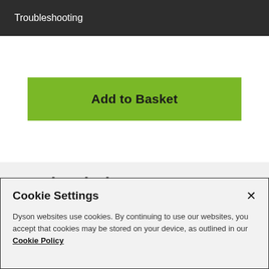Troubleshooting
[Figure (other): Green 'Add to Basket' button]
Further help
Cookie Settings
Dyson websites use cookies. By continuing to use our websites, you accept that cookies may be stored on your device, as outlined in our Cookie Policy